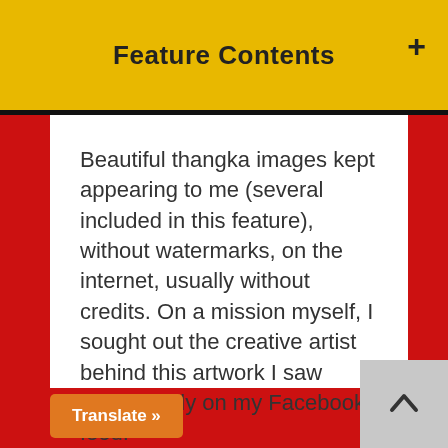Feature Contents
Beautiful thangka images kept appearing to me (several included in this feature), without watermarks, on the internet, usually without credits. On a mission myself, I sought out the creative artist behind this artwork I saw almost daily on my Facebook feed.